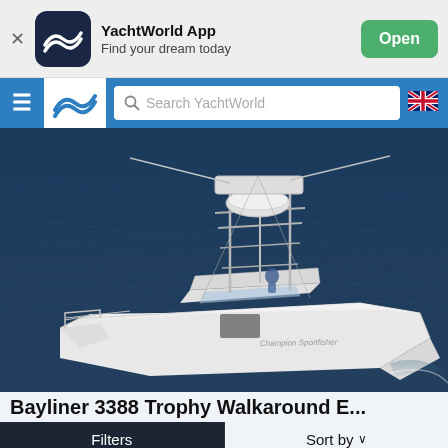YachtWorld App — Find your dream today — Open
Search YachtWorld
[Figure (photo): White sport fishing boat on dark blue ocean water, aerial/side view. The boat has a tall tower/fly bridge structure with radar equipment, multiple outriggers, white hull, and a person visible at the helm.]
Bayliner 3388 Trophy Walkaround E...
Filters    Sort by